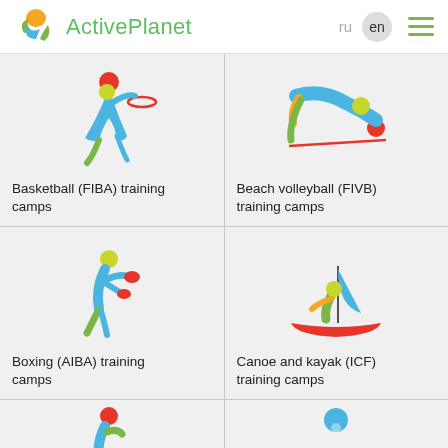ActivePlanet  ru  en
[Figure (illustration): Sport pictogram: basketball player throwing ball with hoop]
Basketball (FIBA) training camps
[Figure (illustration): Sport pictogram: beach volleyball player diving for ball]
Beach volleyball (FIVB) training camps
[Figure (illustration): Sport pictogram: boxer in punching stance]
Boxing (AIBA) training camps
[Figure (illustration): Sport pictogram: canoe/kayak sailor on boat with sail]
Canoe and kayak (ICF) training camps
[Figure (illustration): Sport pictogram: partial view of athlete at bottom of page (left)]
[Figure (illustration): Sport pictogram: partial view of athlete at bottom of page (right)]